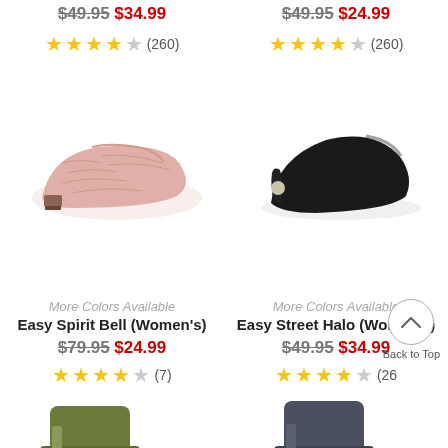$49.95 $34.99
★★★★☆ (260)
$49.95 $24.99
★★★★☆ (260)
[Figure (photo): Pink croc-embossed flat shoe - Easy Spirit Bell Women's]
More Colors Available
Easy Spirit Bell (Women's)
$79.95 $24.99
★★★★☆ (7)
[Figure (photo): Black suede low heel pump - Easy Street Halo Women's]
More Colors Available
Easy Street Halo (Women's)
$49.95 $34.99
★★★★☆ (26
Back to Top
[Figure (photo): Olive green boot - partially visible at bottom left]
[Figure (photo): Dark grey/navy boot - partially visible at bottom right]